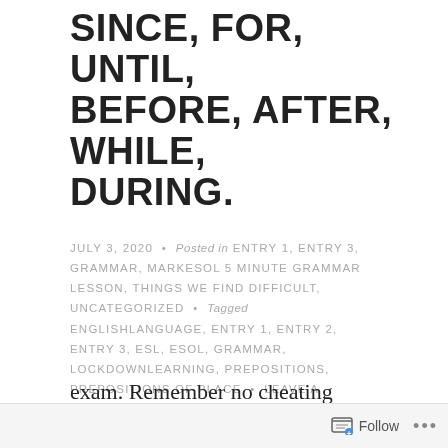SINCE, FOR, UNTIL, BEFORE, AFTER, WHILE, DURING.
JULY 3, 2020 • Posted in ENTRY 1, ENTRY 3, GRAMMAR, MARKESOL 5 MINUTE GRAMMAR LESSON, THINGS WE FIND DIFFICULT, UNCATEGORIZED • Tagged ENGLISHLANGUAGE, ENTRY 1, ENTRY 2, ENTRY 3, ESL, ESOL, GRAMMAR, LOCKDOWNLEARNING, PREPOSITIONS, PREPOSITIONS OF PLACE • LEAVE A COMMENT
exam. Remember no cheating DURING the exam."